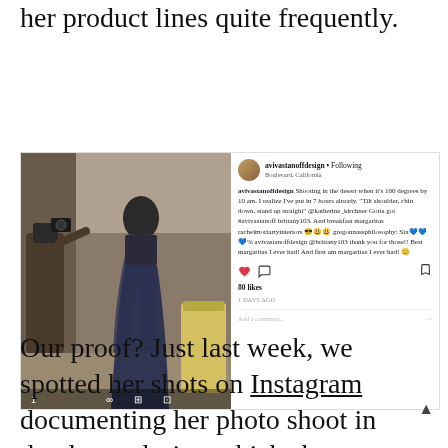her product lines quite frequently.
[Figure (screenshot): Instagram post screenshot showing a photo shoot in the desert. Left side is a photo of a woman in a long dark blue dress/gown with flowing fabric, being photographed. Right side shows the Instagram interface with username avivastanoffdesign, location Boulevard, California, a caption about shooting in the desert when it's 100 degrees by 10 am, comments, 80 likes, and an 'Add a comment...' field.]
Our proof? Just last week, we spotted her shots on Instagram documenting her photo shoot in the desert during which she was swathed in a